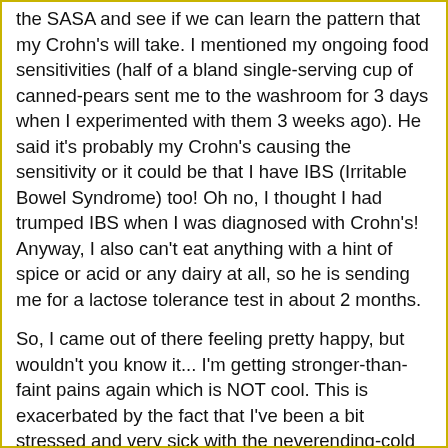the SASA and see if we can learn the pattern that my Crohn's will take. I mentioned my ongoing food sensitivities (half of a bland single-serving cup of canned-pears sent me to the washroom for 3 days when I experimented with them 3 weeks ago). He said it's probably my Crohn's causing the sensitivity or it could be that I have IBS (Irritable Bowel Syndrome) too! Oh no, I thought I had trumped IBS when I was diagnosed with Crohn's! Anyway, I also can't eat anything with a hint of spice or acid or any dairy at all, so he is sending me for a lactose tolerance test in about 2 months.
So, I came out of there feeling pretty happy, but wouldn't you know it... I'm getting stronger-than-faint pains again which is NOT cool. This is exacerbated by the fact that I've been a bit stressed and very sick with the neverending-cold for TWO FREAKIN MONTHS! That's right, even a dose of antibiotics didn't get rid of this horrid infection that seems to fade till I'm almost perfect then comes back at me with a sore throat, or coughing or runny nose. Or all of the above. Yeah, coughing repeatedly doesn't feel so good on the abdomen. I've also been eating risky foods lately as my friends and I celebrated our Christmas last weekend. So... I'm not really helping the situation. Time to smarten up and choose those pains and